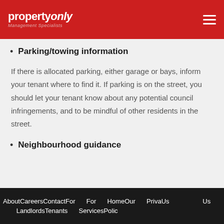propertyonly Management Specialists
Parking/towing information
If there is allocated parking, either garage or bays, inform your tenant where to find it. If parking is on the street, you should let your tenant know about any potential council infringements, and to be mindful of other residents in the street.
Neighbourhood guidance
About Us  Careers  Contact For Us  For Landlords  Tenants  Home  Our Services  Privacy Polic